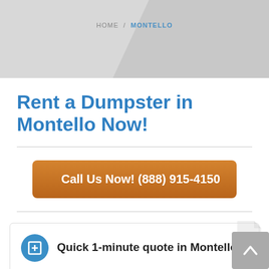HOME / MONTELLO
Rent a Dumpster in Montello Now!
Call Us Now! (888) 915-4150
Quick 1-minute quote in Montello
Dumpster rental specialists are standing by to give you a quick, no-hassle quote. Let us know what dumpster size